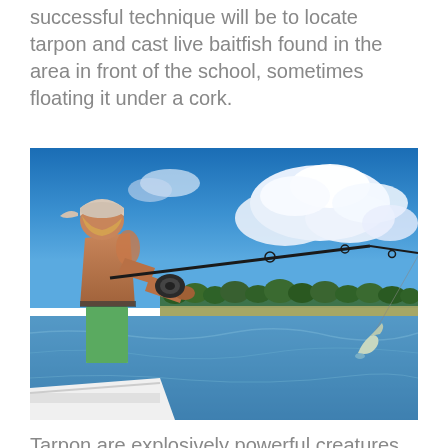successful technique will be to locate tarpon and cast live baitfish found in the area in front of the school, sometimes floating it under a cork.
[Figure (photo): A shirtless man wearing green shorts and a white cap stands on the bow of a boat, holding a bent fishing rod, with a fish leaping out of the water in the background. Blue sky with white clouds and a tree line visible on the horizon.]
Tarpon are explosively powerful creatures and often leap entirely out of the water